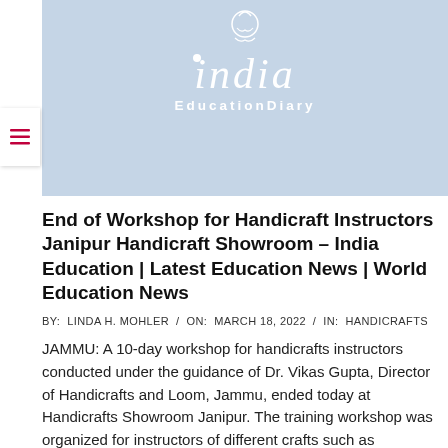[Figure (logo): India EducationDiary logo — white stylized 'india' text with dot above i and 'EducationDiary' subtitle on light blue banner background]
End of Workshop for Handicraft Instructors Janipur Handicraft Showroom – India Education | Latest Education News | World Education News
BY:  LINDA H. MOHLER  /  ON:  MARCH 18, 2022  /  IN:  HANDICRAFTS
JAMMU: A 10-day workshop for handicrafts instructors conducted under the guidance of Dr. Vikas Gupta, Director of Handicrafts and Loom, Jammu, ended today at Handicrafts Showroom Janipur. The training workshop was organized for instructors of different crafts such as Phoolkari embroidery, calico printing,